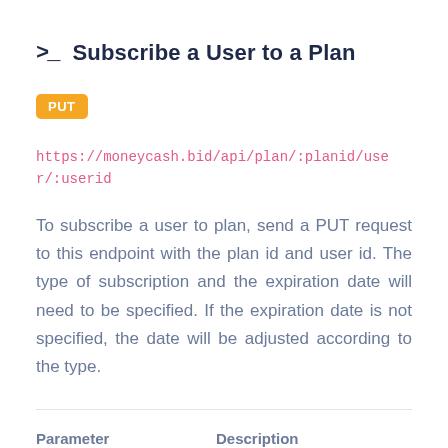Subscribe a User to a Plan
PUT
https://moneycash.bid/api/plan/:planid/user/:userid
To subscribe a user to plan, send a PUT request to this endpoint with the plan id and user id. The type of subscription and the expiration date will need to be specified. If the expiration date is not specified, the date will be adjusted according to the type.
| Parameter | Description |
| --- | --- |